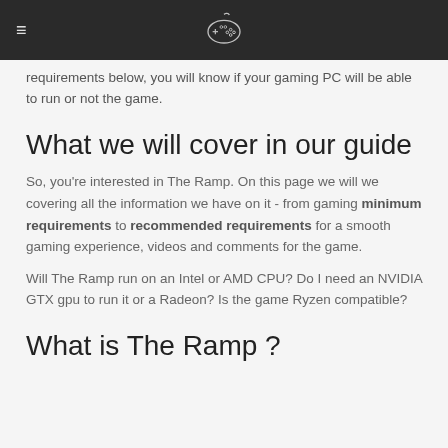≡ [controller icon]
requirements below, you will know if your gaming PC will be able to run or not the game.
What we will cover in our guide
So, you're interested in The Ramp. On this page we will we covering all the information we have on it - from gaming minimum requirements to recommended requirements for a smooth gaming experience, videos and comments for the game.
Will The Ramp run on an Intel or AMD CPU? Do I need an NVIDIA GTX gpu to run it or a Radeon? Is the game Ryzen compatible?
What is The Ramp ?